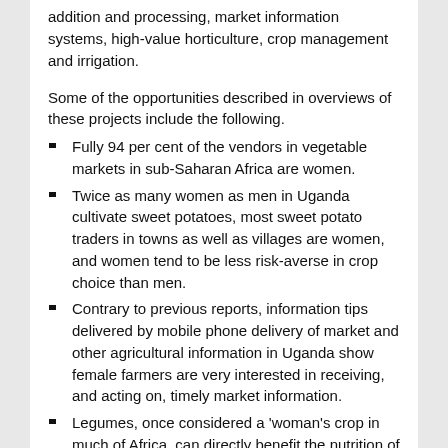addition and processing, market information systems, high-value horticulture, crop management and irrigation.
Some of the opportunities described in overviews of these projects include the following.
Fully 94 per cent of the vendors in vegetable markets in sub-Saharan Africa are women.
Twice as many women as men in Uganda cultivate sweet potatoes, most sweet potato traders in towns as well as villages are women, and women tend to be less risk-averse in crop choice than men.
Contrary to previous reports, information tips delivered by mobile phone delivery of market and other agricultural information in Uganda show female farmers are very interested in receiving, and acting on, timely market information.
Legumes, once considered a 'woman's crop in much of Africa, can directly benefit the nutrition of poor households.
With increasing migration of men from rural to urban areas in South Asia, the roles of women are shifting from unpaid farm labourers to de facto farm